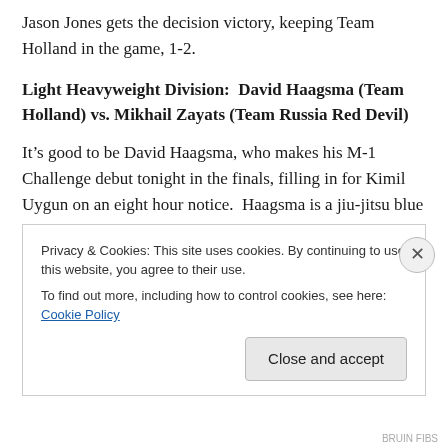Jason Jones gets the decision victory, keeping Team Holland in the game, 1-2.
Light Heavyweight Division:  David Haagsma (Team Holland) vs. Mikhail Zayats (Team Russia Red Devil)
It’s good to be David Haagsma, who makes his M-1 Challenge debut tonight in the finals, filling in for Kimil Uygun on an eight hour notice.  Haagsma is a jiu-jitsu blue belt under Remco Pardoel.  Meanwhile, Mikhail Zayats comes in tonight at 4-0, the only Red Devil to have that honor.  In fact, his only loss this year was to Daniel Tabera
Privacy & Cookies: This site uses cookies. By continuing to use this website, you agree to their use.
To find out more, including how to control cookies, see here: Cookie Policy